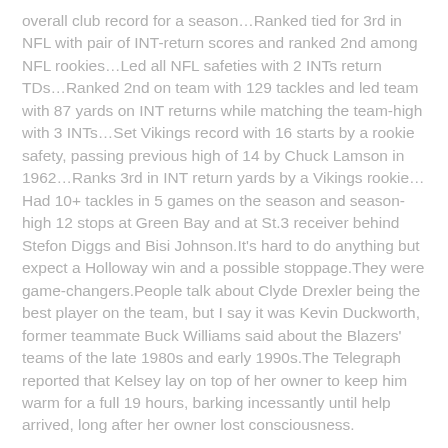overall club record for a season…Ranked tied for 3rd in NFL with pair of INT-return scores and ranked 2nd among NFL rookies…Led all NFL safeties with 2 INTs return TDs…Ranked 2nd on team with 129 tackles and led team with 87 yards on INT returns while matching the team-high with 3 INTs…Set Vikings record with 16 starts by a rookie safety, passing previous high of 14 by Chuck Lamson in 1962…Ranks 3rd in INT return yards by a Vikings rookie…Had 10+ tackles in 5 games on the season and season-high 12 stops at Green Bay and at St.3 receiver behind Stefon Diggs and Bisi Johnson.It's hard to do anything but expect a Holloway win and a possible stoppage.They were game-changers.People talk about Clyde Drexler being the best player on the team, but I say it was Kevin Duckworth, former teammate Buck Williams said about the Blazers' teams of the late 1980s and early 1990s.The Telegraph reported that Kelsey lay on top of her owner to keep him warm for a full 19 hours, barking incessantly until help arrived, long after her owner lost consciousness.